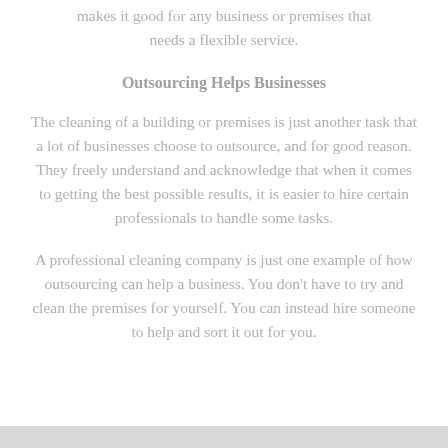makes it good for any business or premises that needs a flexible service.
Outsourcing Helps Businesses
The cleaning of a building or premises is just another task that a lot of businesses choose to outsource, and for good reason. They freely understand and acknowledge that when it comes to getting the best possible results, it is easier to hire certain professionals to handle some tasks.
A professional cleaning company is just one example of how outsourcing can help a business. You don't have to try and clean the premises for yourself. You can instead hire someone to help and sort it out for you.